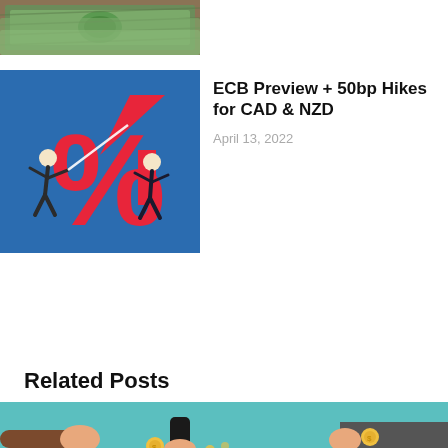[Figure (photo): Close-up photo of US dollar bills]
[Figure (illustration): Blue background illustration with large red percent sign and two businessmen figures pulling an upward red arrow, representing interest rate hikes]
ECB Preview + 50bp Hikes for CAD & NZD
April 13, 2022
Related Posts
[Figure (illustration): Illustration of hands exchanging coins on a teal background, representing financial transactions]